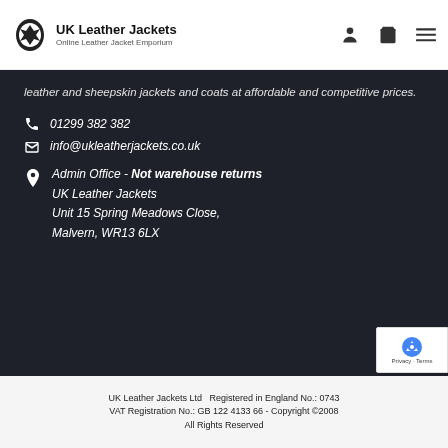UK Leather Jackets - Online Leather Jacket Emporium
leather and sheepskin jackets and coats at affordable and competitive prices.
01299 382 382
info@ukleatherjackets.co.uk
Admin Office - Not warehouse returns
UK Leather Jackets
Unit 15 Spring Meadows Close,
Malvern, WR13 6LX
UK Leather Jackets Ltd  Registered in England No.: 0743
VAT Registration No.: GB 122 4133 66 - Copyright ©2008
All Rights Reserved